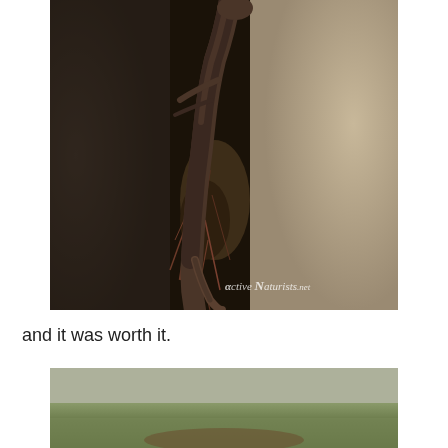[Figure (photo): Close-up photograph of a skink or small lizard wedged between two rocks with roots and debris, watermarked with 'ActiveNaturists.net' in the bottom right corner.]
and it was worth it.
[Figure (photo): Partial photograph visible at the bottom of the page showing a blurred outdoor scene with green grass and brown ground.]